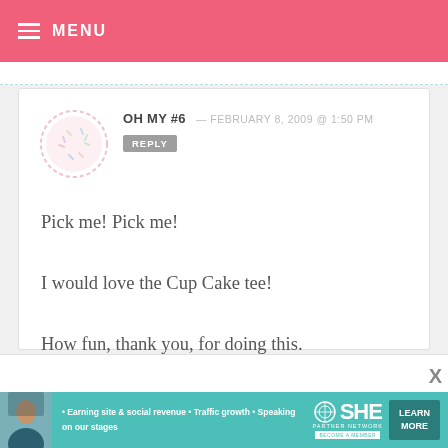≡ MENU
OH MY #6 — FEBRUARY 8, 2009 @ 1:50 PM
REPLY
Pick me! Pick me!

I would love the Cup Cake tee!

How fun, thank you, for doing this.

Lea

xo
[Figure (illustration): Circular avatar placeholder with dashed border outline and small decorative elements inside]
SHE PARTNER NETWORK — Earning site & social revenue • Traffic growth • Speaking on our stages — BECOME A MEMBER — LEARN MORE